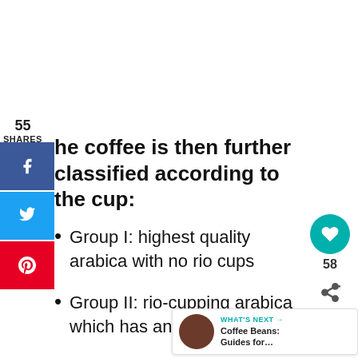55
SHARES
he coffee is then further classified according to the cup:
Group I: highest quality arabica with no rio cups
Group II: rio-cupping arabica which has an iodine taste
Group III: conillon (robusta)